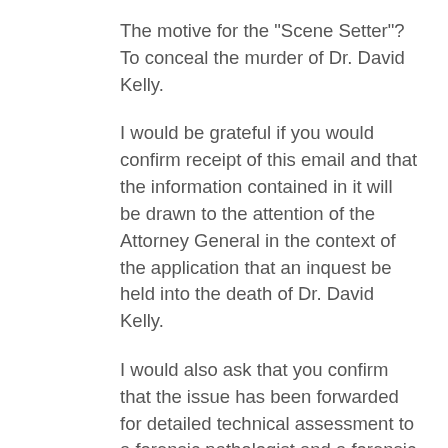The motive for the "Scene Setter"? To conceal the murder of Dr. David Kelly.
I would be grateful if you would confirm receipt of this email and that the information contained in it will be drawn to the attention of the Attorney General in the context of the application that an inquest be held into the death of Dr. David Kelly.
I would also ask that you confirm that the issue has been forwarded for detailed technical assessment to a forensic pathologist and a forensic biologist, each being independent of any organisation with which Dr. Hunt and Mr. Green are associated.
Those forensics professionals, and/or the Attorney General, may wish to be familiar with this: The Death of David Kelly - "The Harrowdown Hill Challenge (Level 1)" ( http://chilcotscheatingus.blogspot.com/2011/06/death-of-david-kelly-harrowdown-hill.html ) which